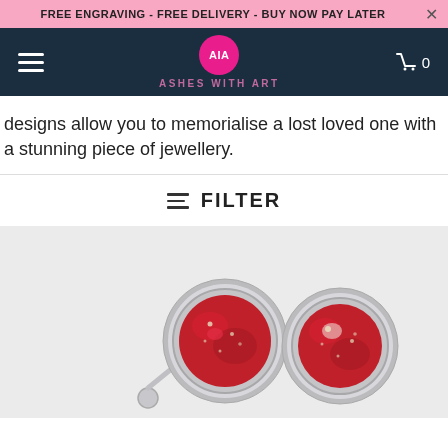FREE ENGRAVING - FREE DELIVERY - BUY NOW PAY LATER
[Figure (logo): Ashes With Art logo: pink circle with 'AIA' text and brand name below]
designs allow you to memorialise a lost loved one with a stunning piece of jewellery.
FILTER
[Figure (photo): Two silver cufflinks with deep red/crimson resin insides set in polished silver circular bezels, one showing toggle attachment, on light grey background]